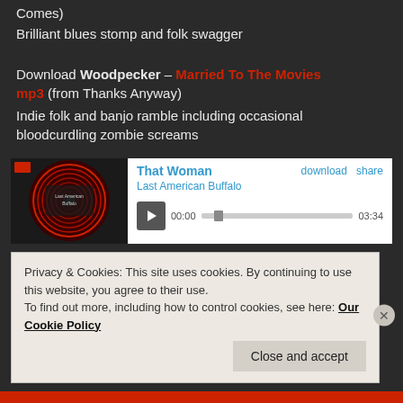Comes)
Brilliant blues stomp and folk swagger
Download Woodpecker – Married To The Movies mp3 (from Thanks Anyway)
Indie folk and banjo ramble including occasional bloodcurdling zombie screams
[Figure (screenshot): Music player widget showing 'That Woman' by Last American Buffalo with play button, progress bar showing 00:00 to 03:34, download and share links]
Privacy & Cookies: This site uses cookies. By continuing to use this website, you agree to their use.
To find out more, including how to control cookies, see here: Our Cookie Policy
Close and accept